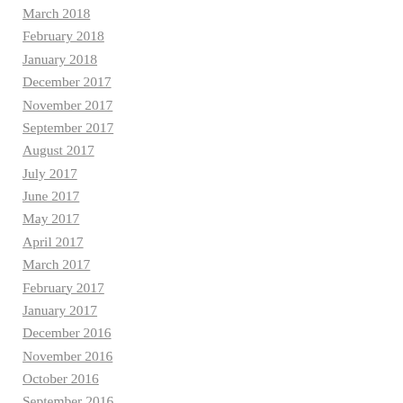March 2018
February 2018
January 2018
December 2017
November 2017
September 2017
August 2017
July 2017
June 2017
May 2017
April 2017
March 2017
February 2017
January 2017
December 2016
November 2016
October 2016
September 2016
August 2016